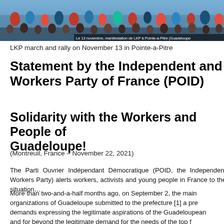[Figure (photo): Photo of LKP march and rally crowd with people in colorful clothing, with French caption overlay: 'Le 13 novembre, manifestation de LKP à Pointe-à-Pitre (Guadeloupe']
LKP march and rally on November 13 in Pointe-a-Pitre
Statement by the Independent and Workers Party of France (POID)
Solidarity with the Workers and People of Guadeloupe!
(Montreuil, France – November 22, 2021)
The Parti Ouvrier Indépendant Démocratique (POID, the Independent Workers Party) alerts workers, activists and young people in France to the s
More than two-and-a-half months ago, on September 2, the main trade union organizations of Guadeloupe submitted to the prefecture [1] a pre demands expressing the legitimate aspirations of the Guadeloupea and for beyond the legitimate demand for the needs of the top f